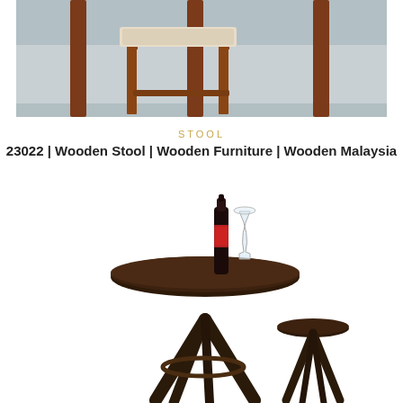[Figure (photo): Wooden stool with beige cushioned seat next to a tall wooden table/dresser leg, against a grey background]
STOOL
23022 | Wooden Stool | Wooden Furniture | Wooden Malaysia
[Figure (photo): Dark wooden bar table with round top, wine bottle and glass on top, next to a shorter dark wooden round bar stool, on white background]